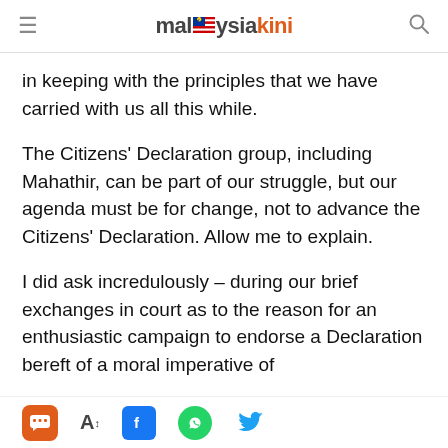malaysiakini
in keeping with the principles that we have carried with us all this while.
The Citizens' Declaration group, including Mahathir, can be part of our struggle, but our agenda must be for change, not to advance the Citizens' Declaration. Allow me to explain.
I did ask incredulously – during our brief exchanges in court as to the reason for an enthusiastic campaign to endorse a Declaration bereft of a moral imperative of
[chat] [A+] [Facebook] [WhatsApp] [Twitter]